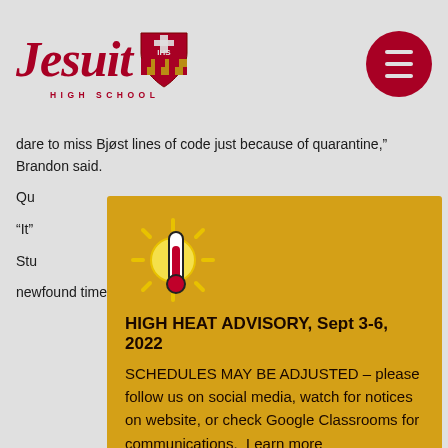Jesuit High School
dare to miss Bjøst lines of code just because of quarantine," Brandon said.
Qu... ref... an... ev... to... for...
"It"... wh... co... re...
Stu... newfound time that quarantine has to offer. Assistant
[Figure (infographic): High Heat Advisory popup/modal with thermometer and sun icon. Title: HIGH HEAT ADVISORY, Sept 3-6, 2022. Body text: SCHEDULES MAY BE ADJUSTED – please follow us on social media, watch for notices on website, or check Google Classrooms for communications. Learn more (link). Got it! button.]